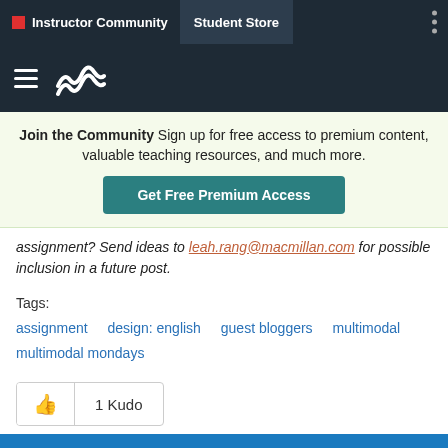Instructor Community  Student Store
[Figure (logo): Macmillan logo with hamburger menu and wave icon on dark background]
Join the Community  Sign up for free access to premium content, valuable teaching resources, and much more.  Get Free Premium Access
assignment? Send ideas to leah.rang@macmillan.com for possible inclusion in a future post.
Tags:
assignment   design: english   guest bloggers   multimodal   multimodal mondays
1 Kudo
You must be a registered user to add a comment. If